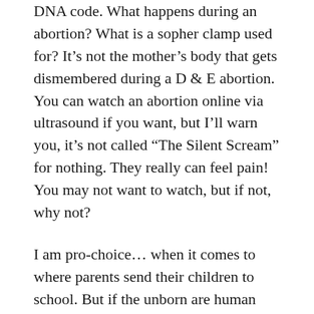DNA code. What happens during an abortion? What is a sopher clamp used for? It’s not the mother’s body that gets dismembered during a D & E abortion. You can watch an abortion online via ultrasound if you want, but I’ll warn you, it’s not called “The Silent Scream” for nothing. They really can feel pain! You may not want to watch, but if not, why not?
I am pro-choice… when it comes to where parents send their children to school. But if the unborn are human persons, then abortion is wrong. Why should a person’s size, level of development, environment, or degree of dependency justify their brutal murder?